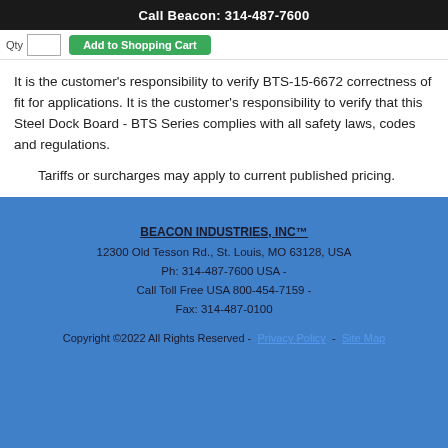Call Beacon: 314-487-7600
It is the customer's responsibility to verify BTS-15-6672 correctness of fit for applications. It is the customer's responsibility to verify that this Steel Dock Board - BTS Series complies with all safety laws, codes and regulations.
Tariffs or surcharges may apply to current published pricing.
BEACON INDUSTRIES, INC™
12300 Old Tesson Rd., St. Louis, MO 63128, USA
Ph: 314-487-7600 USA -
Call Toll Free USA 800-454-7159 -
Fax: 314-487-0100

Copyright ©2022 All Rights Reserved - Privacy Policy - Site Map